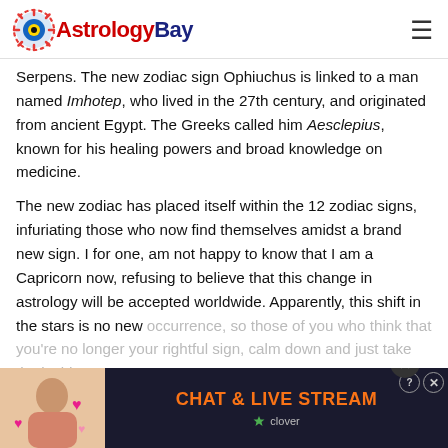AstrologyBay
Serpens. The new zodiac sign Ophiuchus is linked to a man named Imhotep, who lived in the 27th century, and originated from ancient Egypt. The Greeks called him Aesclepius, known for his healing powers and broad knowledge on medicine.
The new zodiac has placed itself within the 12 zodiac signs, infuriating those who now find themselves amidst a brand new sign. I for one, am not happy to know that I am a Capricorn now, refusing to believe that this change in astrology will be accepted worldwide. Apparently, this shift in the stars is no new occurrence, so those of you who think that you're no longer your rightful sign, calm down and just take the incide... ou can't...
[Figure (other): Advertisement banner: CHAT & LIVE STREAM with clover branding, with woman photo on left and close buttons]